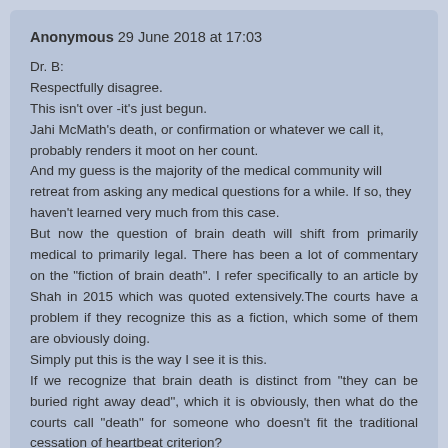Anonymous 29 June 2018 at 17:03
Dr. B:
Respectfully disagree.
This isn't over -it's just begun.
Jahi McMath's death, or confirmation or whatever we call it, probably renders it moot on her count.
And my guess is the majority of the medical community will retreat from asking any medical questions for a while. If so, they haven't learned very much from this case.
But now the question of brain death will shift from primarily medical to primarily legal. There has been a lot of commentary on the "fiction of brain death". I refer specifically to an article by Shah in 2015 which was quoted extensively.The courts have a problem if they recognize this as a fiction, which some of them are obviously doing.
Simply put this is the way I see it is this.
If we recognize that brain death is distinct from "they can be buried right away dead", which it is obviously, then what do the courts call "death" for someone who doesn't fit the traditional cessation of heartbeat criterion?